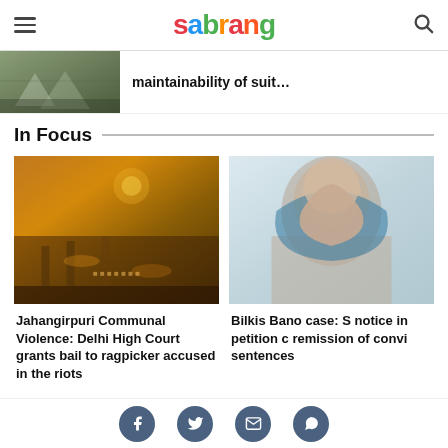sabrang
[Figure (photo): Partially visible photo of a scene with umbrellas or tents, outdoor setting]
maintainability of suit…
In Focus
[Figure (photo): Night scene of communal violence with police/security forces on an orange-lit street]
Jahangirpuri Communal Violence: Delhi High Court grants bail to ragpicker accused in the riots
[Figure (photo): Portrait photo of Bilkis Bano, woman wearing blue headscarf]
Bilkis Bano case: S notice in petition c remission of convi sentences
Social share buttons: Facebook, Twitter, Email, WhatsApp